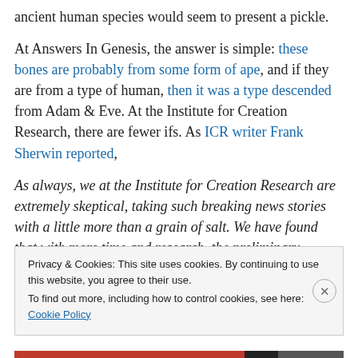ancient human species would seem to present a pickle.
At Answers In Genesis, the answer is simple: these bones are probably from some form of ape, and if they are from a type of human, then it was a type descended from Adam & Eve. At the Institute for Creation Research, there are fewer ifs. As ICR writer Frank Sherwin reported,
As always, we at the Institute for Creation Research are extremely skeptical, taking such breaking news stories with a little more than a grain of salt. We have found that with more time and research, the preliminary spectacular
Privacy & Cookies: This site uses cookies. By continuing to use this website, you agree to their use.
To find out more, including how to control cookies, see here: Cookie Policy
Close and accept